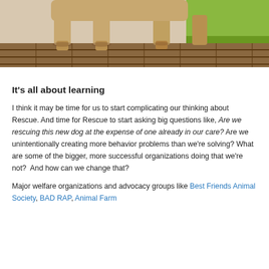[Figure (photo): Cropped photo showing the legs of a large dog standing on wooden deck planks, with a grassy area visible on the right side.]
It's all about learning
I think it may be time for us to start complicating our thinking about Rescue. And time for Rescue to start asking big questions like, Are we rescuing this new dog at the expense of one already in our care? Are we unintentionally creating more behavior problems than we're solving? What are some of the bigger, more successful organizations doing that we're not?  And how can we change that?
Major welfare organizations and advocacy groups like Best Friends Animal Society, BAD RAP, Animal Farm